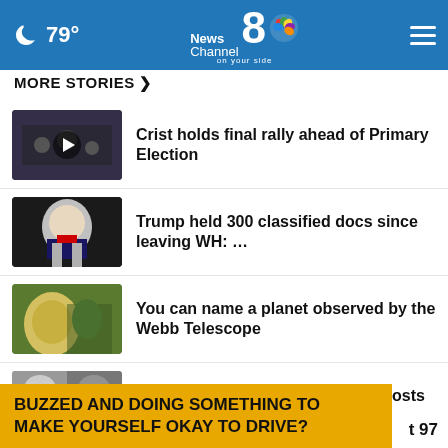79° News Channel 8 on your side
MORE STORIES >
Crist holds final rally ahead of Primary Election
Trump held 300 classified docs since leaving WH: ...
You can name a planet observed by the Webb Telescope
Local shelter reducing adoption costs this weekend
Lightning announce auditions for Bolts Blue Crew
BUZZED AND DOING SOMETHING TO MAKE YOURSELF OKAY TO DRIVE?
t 97